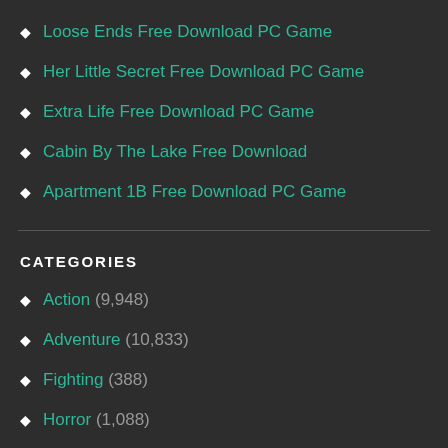Loose Ends Free Download PC Game
Her Little Secret Free Download PC Game
Extra Life Free Download PC Game
Cabin By The Lake Free Download
Apartment 1B Free Download PC Game
CATEGORIES
Action (9,948)
Adventure (10,833)
Fighting (388)
Horror (1,088)
Indie (15,244)
Racing (932)